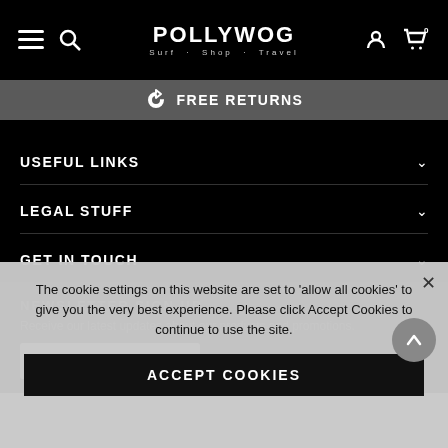POLLYWOG Surf · Shop · Travel
FREE RETURNS
USEFUL LINKS
LEGAL STUFF
GET IN TOUCH
NEWSLETTER SIGN UP
Receive our latest updates about our products and promotions.
The cookie settings on this website are set to 'allow all cookies' to give you the very best experience. Please click Accept Cookies to continue to use the site.
ACCEPT COOKIES
E STOCK